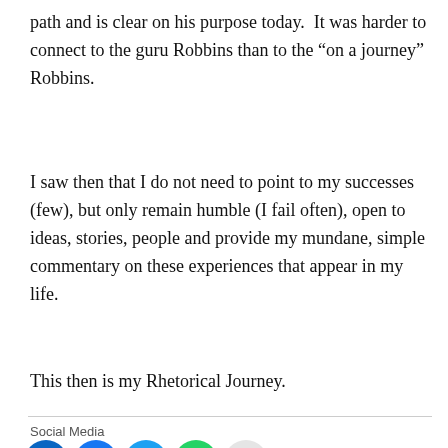path and is clear on his purpose today.  It was harder to connect to the guru Robbins than to the “on a journey” Robbins.
I saw then that I do not need to point to my successes (few), but only remain humble (I fail often), open to ideas, stories, people and provide my mundane, simple commentary on these experiences that appear in my life.
This then is my Rhetorical Journey.
Social Media
[Figure (other): Row of five social media icon buttons: LinkedIn (blue circle with 'in'), Facebook (dark blue circle with 'f'), Twitter (blue circle with bird), WhatsApp (green circle with phone), Email (light grey circle with envelope icon)]